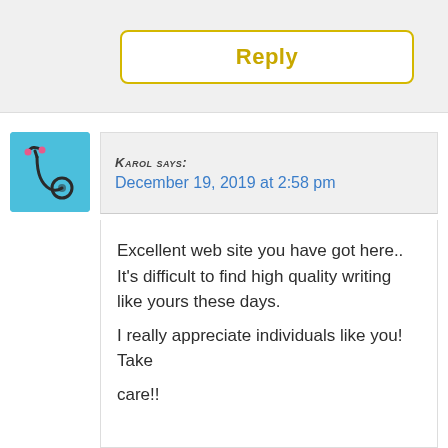[Figure (other): Reply button with yellow border on grey background]
[Figure (illustration): Stethoscope icon on light blue square background — commenter avatar for Karol]
KAROL SAYS:
December 19, 2019 at 2:58 pm
Excellent web site you have got here.. It's difficult to find high quality writing like yours these days.

I really appreciate individuals like you! Take

care!!